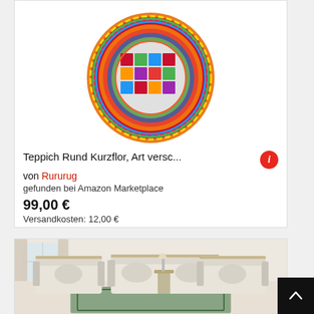[Figure (photo): Round colorful patchwork rug with geometric patterns in vivid multicolors (red, blue, green, orange, yellow, purple) on white background.]
Teppich Rund Kurzflor, Art versc...
von Rururug
gefunden bei Amazon Marketplace
99,00 €
Versandkosten: 12,00 €
[Figure (photo): Elegant classic sofa set with cream/beige upholstery, ornate wooden frames with gold detailing, decorative pillows, in a bright living room with curtains. A patterned rug visible on the floor.]